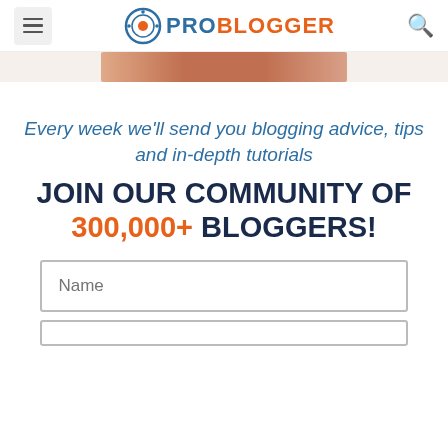PROBLOGGER
[Figure (photo): Partial image of a brown/copper cylindrical object, cropped at the top of the page]
Every week we'll send you blogging advice, tips and in-depth tutorials
JOIN OUR COMMUNITY OF 300,000+ BLOGGERS!
Name (input field)